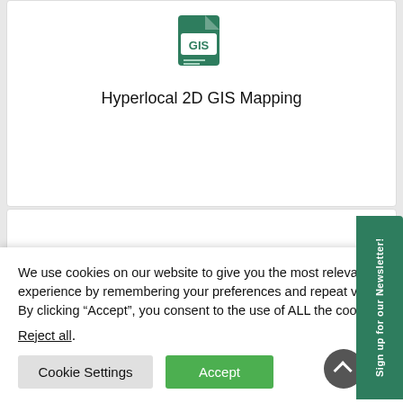[Figure (logo): GIS file icon in green color with 'GIS' text label]
Hyperlocal 2D GIS Mapping
We use cookies on our website to give you the most relevant experience by remembering your preferences and repeat visits. By clicking “Accept”, you consent to the use of ALL the cookies.
Reject all.